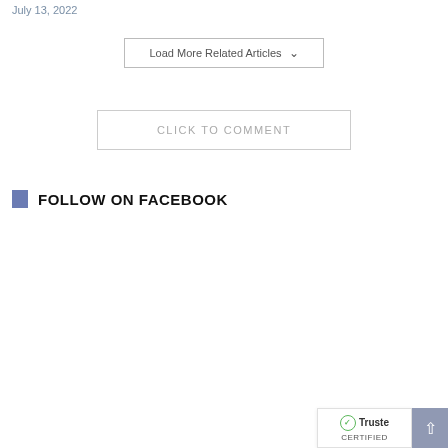July 13, 2022
Load More Related Articles ∨
CLICK TO COMMENT
FOLLOW ON FACEBOOK
[Figure (logo): TrustedSite certified badge with green checkmark and CERTIFIED label]
Truste... CERTIFIED